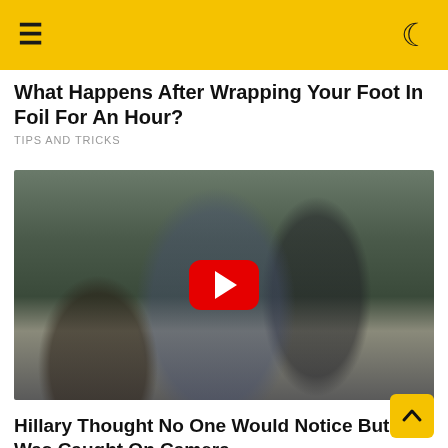≡  ☽
What Happens After Wrapping Your Foot In Foil For An Hour?
TIPS AND TRICKS
[Figure (photo): Video thumbnail of political figures standing on an airport tarmac, with a red YouTube play button overlay in the center.]
Hillary Thought No One Would Notice But It Was Caught On Camera
PROZORO